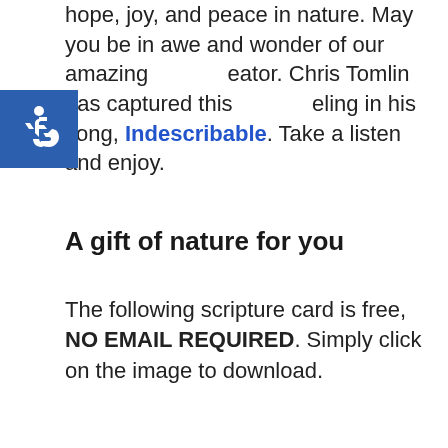hope, joy, and peace in nature. May you be in awe and wonder of our amazing creator. Chris Tomlin has captured this feeling in his song, Indescribable. Take a listen and enjoy.
[Figure (logo): Accessibility icon - white wheelchair symbol on blue square background]
A gift of nature for you
The following scripture card is free, NO EMAIL REQUIRED. Simply click on the image to download.